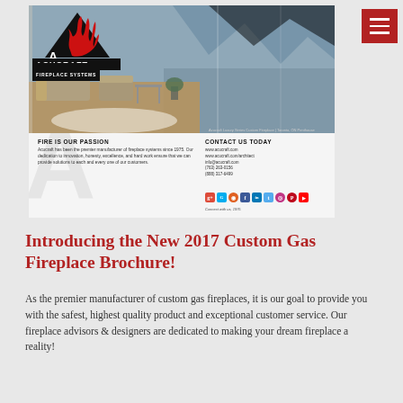[Figure (screenshot): Screenshot of Acucraft Fireplace Systems website showing a luxury interior room with fireplace, the Acucraft logo with flame icon, and a bottom info strip with 'FIRE IS OUR PASSION' text, contact information, and social media icons. A red hamburger menu button appears in the top right corner.]
Introducing the New 2017 Custom Gas Fireplace Brochure!
As the premier manufacturer of custom gas fireplaces, it is our goal to provide you with the safest, highest quality product and exceptional customer service. Our fireplace advisors & designers are dedicated to making your dream fireplace a reality!